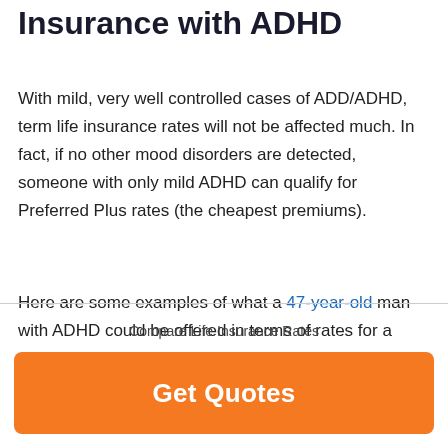Insurance with ADHD
With mild, very well controlled cases of ADD/ADHD, term life insurance rates will not be affected much. In fact, if no other mood disorders are detected, someone with only mild ADHD can qualify for Preferred Plus rates (the cheapest premiums).
Here are some examples of what a 47-year-old man with ADHD could be offered in terms of rates for a
Compare Life Insurance Rates
Get Quotes